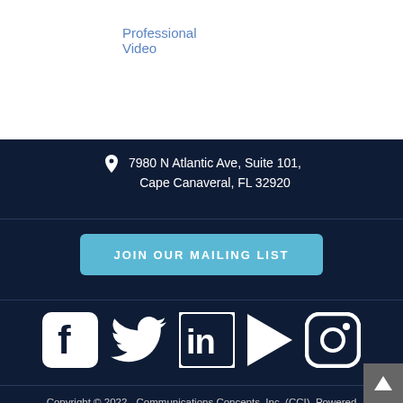Professional Video
7980 N Atlantic Ave, Suite 101, Cape Canaveral, FL 32920
JOIN OUR MAILING LIST
[Figure (illustration): Social media icons: Facebook, Twitter, LinkedIn, Play button, Instagram]
Copyright © 2022 - Communications Concepts, Inc. (CCI). Powered By Webware.io